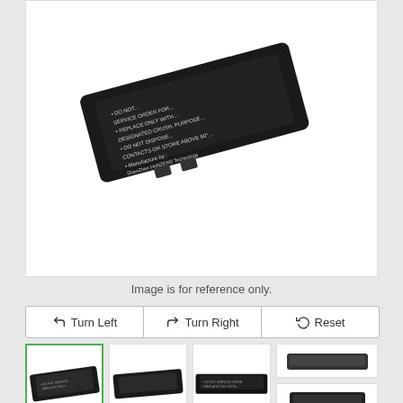[Figure (photo): Close-up photo of a black laptop battery showing warning labels and manufacturer info (ShenZhen HeNZENS Technology). The battery has bullet-point safety warnings visible on its surface.]
Image is for reference only.
[Figure (other): Row of image rotation controls: Turn Left, Turn Right, Reset buttons with hand/pointer icons. Below are thumbnail images of the battery from different angles. The first thumbnail is selected (green border). Four additional thumbnails show different views.]
Dell 0WDX0R,